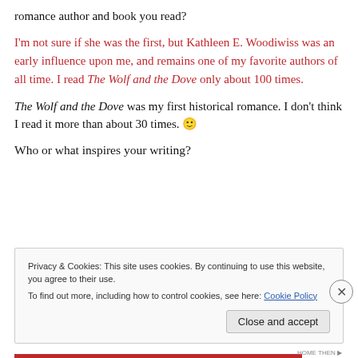romance author and book you read?
I'm not sure if she was the first, but Kathleen E. Woodiwiss was an early influence upon me, and remains one of my favorite authors of all time. I read The Wolf and the Dove only about 100 times.
The Wolf and the Dove was my first historical romance. I don't think I read it more than about 30 times. 🙂
Who or what inspires your writing?
Privacy & Cookies: This site uses cookies. By continuing to use this website, you agree to their use.
To find out more, including how to control cookies, see here: Cookie Policy
Close and accept